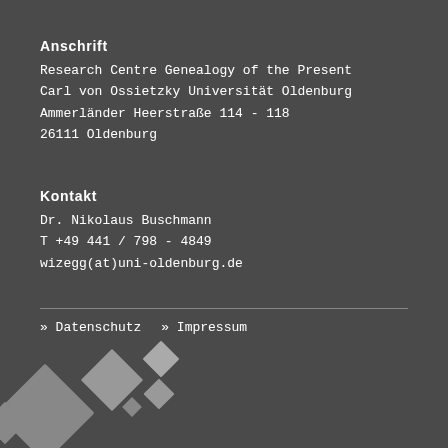Anschrift
Research Centre Genealogy of the Present
Carl von Ossietzky Universität Oldenburg
Ammerländer Heerstraße 114 - 118
26111 Oldenburg
Kontakt
Dr. Nikolaus Buschmann
T +49 441 / 798 - 4849
wizegg(at)uni-oldenburg.de
» Datenschutz   » Impressum
[Figure (illustration): Decorative diamond/rhombus shapes in grey at the bottom-left corner of the page]